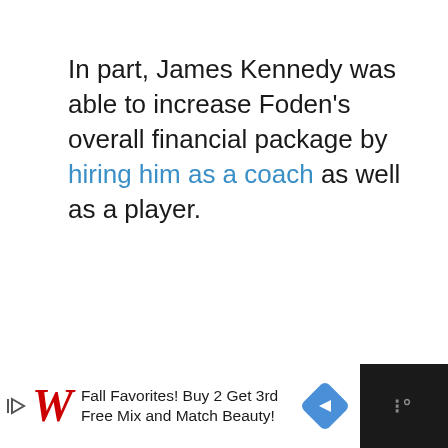In part, James Kennedy was able to increase Foden's overall financial package by hiring him as a coach as well as a player.
[Figure (other): Light gray image placeholder box]
Fall Favorites! Buy 2 Get 3rd Free Mix and Match Beauty! [Walgreens advertisement]